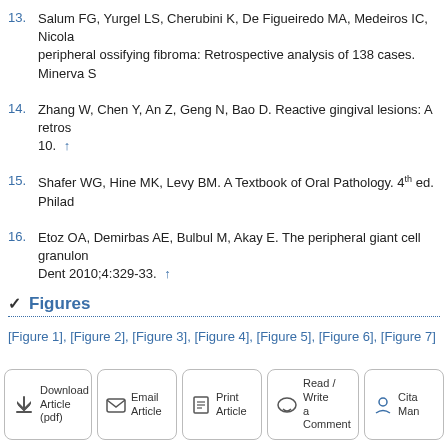13. Salum FG, Yurgel LS, Cherubini K, De Figueiredo MA, Medeiros IC, Nicola. peripheral ossifying fibroma: Retrospective analysis of 138 cases. Minerva S
14. Zhang W, Chen Y, An Z, Geng N, Bao D. Reactive gingival lesions: A retro. 10. ↑
15. Shafer WG, Hine MK, Levy BM. A Textbook of Oral Pathology. 4th ed. Philad
16. Etoz OA, Demirbas AE, Bulbul M, Akay E. The peripheral giant cell granulom. Dent 2010;4:329-33. ↑
✓ Figures
[Figure 1], [Figure 2], [Figure 3], [Figure 4], [Figure 5], [Figure 6], [Figure 7]
Download Article (pdf) | Email Article | Print Article | Read / Write a Comment | Cita Man